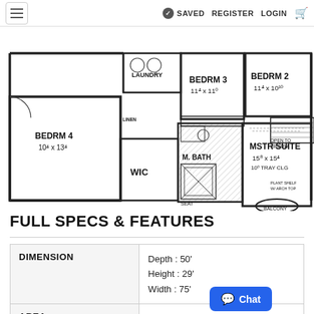≡  SAVED  REGISTER  LOGIN  🛒
[Figure (engineering-diagram): Second floor architectural floor plan showing BEDRM 4 (10⁴ x 13⁴), WIC, M. BATH with SEAT, MSTR SUITE (15⁸ x 15⁴, 10⁰ TRAY CLG), BEDRM 3 (11⁴ x 11⁰), BEDRM 2 (11⁴ x 10¹⁰), LAUNDRY, LINEN, BALCONY, OPEN TO BELOW, PLANT SHELF W/ ARCH TOP]
FULL SPECS & FEATURES
| DIMENSION |  |
| --- | --- |
| DIMENSION | Depth : 50'
Height : 29'
Width : 75' |
| AREA |  |